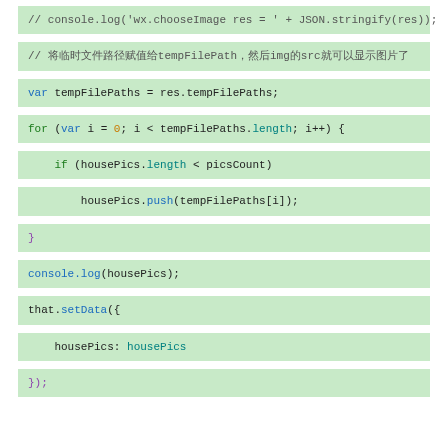// console.log('wx.chooseImage res = ' + JSON.stringify(res));
// 将临时文件路径赋值给tempFilePath，然后img的src就可以显示图片了
var tempFilePaths = res.tempFilePaths;
for (var i = 0; i < tempFilePaths.length; i++) {
if (housePics.length < picsCount)
housePics.push(tempFilePaths[i]);
}
console.log(housePics);
that.setData({
housePics: housePics
});